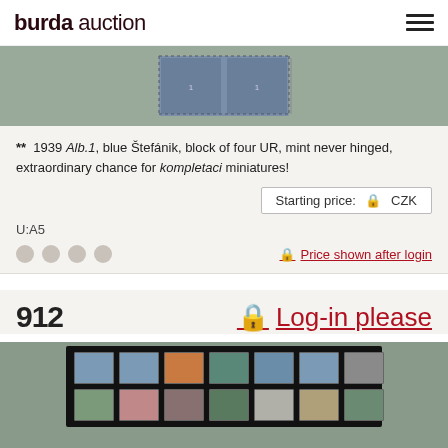burda auction
[Figure (photo): Stamp image showing blue Štefánik block of four stamps]
** 1939 Alb.1, blue Štefánik, block of four UR, mint never hinged, extraordinary chance for kompletaci miniatures!
Starting price: 🔒 CZK
U:A5
🔒 Price shown after login
912
🔒 Log-in please
[Figure (photo): Collection of multiple colorful postage stamps arranged in two rows on black background]